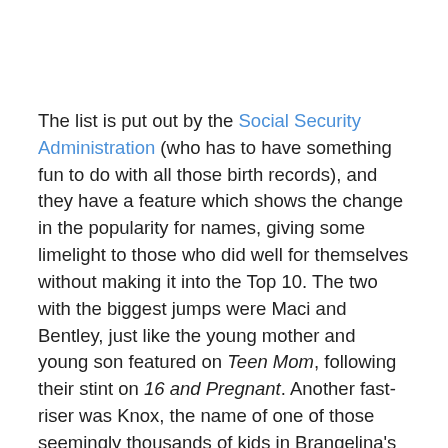The list is put out by the Social Security Administration (who has to have something fun to do with all those birth records), and they have a feature which shows the change in the popularity for names, giving some limelight to those who did well for themselves without making it into the Top 10. The two with the biggest jumps were Maci and Bentley, just like the young mother and young son featured on Teen Mom, following their stint on 16 and Pregnant. Another fast-riser was Knox, the name of one of those seemingly thousands of kids in Brangelina's family entourage. Tiana, the name of the princess in The Princess and the Frog, saw a surge, as did Kellan, a name shared by Kellan Lutz, another actor from Twilight.